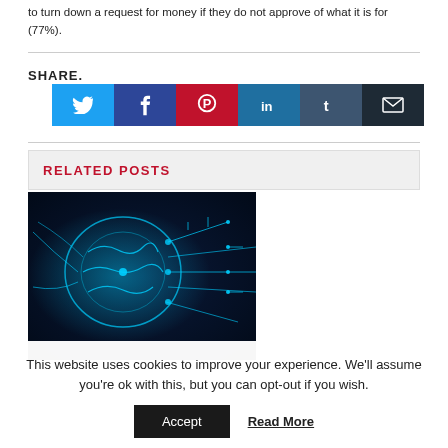to turn down a request for money if they do not approve of what it is for (77%).
RELATED POSTS
[Figure (photo): A glowing digital brain with circuit board connections on a dark blue background, representing artificial intelligence or neural networks.]
This website uses cookies to improve your experience. We'll assume you're ok with this, but you can opt-out if you wish. Accept | Read More